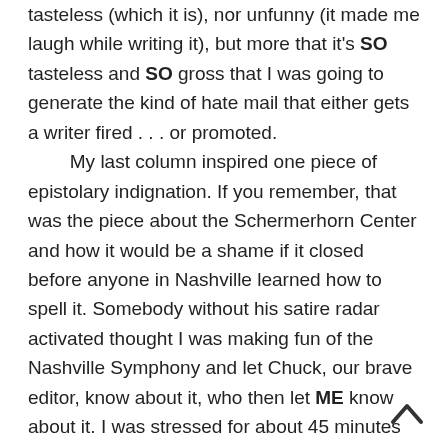tasteless (which it is), nor unfunny (it made me laugh while writing it), but more that it's SO tasteless and SO gross that I was going to generate the kind of hate mail that either gets a writer fired . . . or promoted.
    My last column inspired one piece of epistolary indignation. If you remember, that was the piece about the Schermerhorn Center and how it would be a shame if it closed before anyone in Nashville learned how to spell it. Somebody without his satire radar activated thought I was making fun of the Nashville Symphony and let Chuck, our brave editor, know about it, who then let ME know about it. I was stressed for about 45 minutes until enough people assured me that the piece was funny and this one guy was just that: one guy.
    And THAT was a pretty innocuous column. The piece I just pre-empted (a lengthy speculation on which rock might or might not have herpes) would have had so many